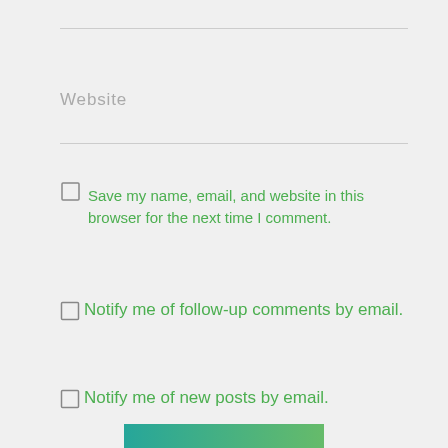Website
Save my name, email, and website in this browser for the next time I comment.
Notify me of follow-up comments by email.
Notify me of new posts by email.